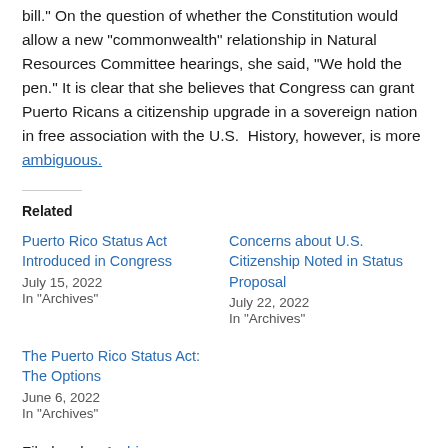bill." On the question of whether the Constitution would allow a new "commonwealth" relationship in Natural Resources Committee hearings, she said, "We hold the pen." It is clear that she believes that Congress can grant Puerto Ricans a citizenship upgrade in a sovereign nation in free association with the U.S.  History, however, is more ambiguous.
Related
Puerto Rico Status Act Introduced in Congress — July 15, 2022 — In "Archives"
Concerns about U.S. Citizenship Noted in Status Proposal — July 22, 2022 — In "Archives"
The Puerto Rico Status Act: The Options — June 6, 2022 — In "Archives"
Filed under: Archives